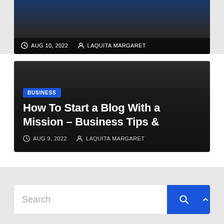[Figure (screenshot): Top card showing blog post with dark blue gradient background, AUG 10, 2022 date and LAQUITA MARGARET author]
AUG 10, 2022   LAQUITA MARGARET
[Figure (screenshot): Dark card with BUSINESS badge, blog post title How To Start a Blog With a Mission – Business Tips &, dated AUG 9, 2022 by LAQUITA MARGARET]
BUSINESS
How To Start a Blog With a Mission – Business Tips &
AUG 9, 2022   LAQUITA MARGARET
Search